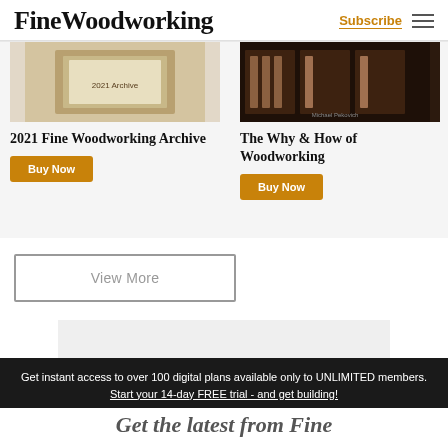FineWoodworking | Subscribe
[Figure (screenshot): Product card: 2021 Fine Woodworking Archive with book cover image and Buy Now button]
[Figure (screenshot): Product card: The Why & How of Woodworking with dark workshop tool chest image and Buy Now button]
[Figure (screenshot): Partial product card cropped at right edge showing 'To' text and 'B' button]
View More
[Figure (photo): Light gray ad placeholder rectangle]
Get instant access to over 100 digital plans available only to UNLIMITED members. Start your 14-day FREE trial - and get building!
Get the latest from Fine